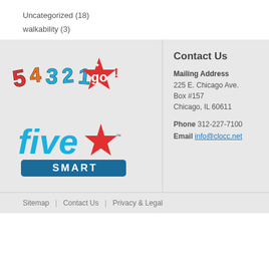Uncategorized (18)
walkability (3)
[Figure (logo): 54321go! logo with colorful numbers and star]
[Figure (logo): Five Smart logo with blue text and red star]
Contact Us
Mailing Address
225 E. Chicago Ave.
Box #157
Chicago, IL 60611
Phone 312-227-7100
Email info@clocc.net
Sitemap | Contact Us | Privacy & Legal